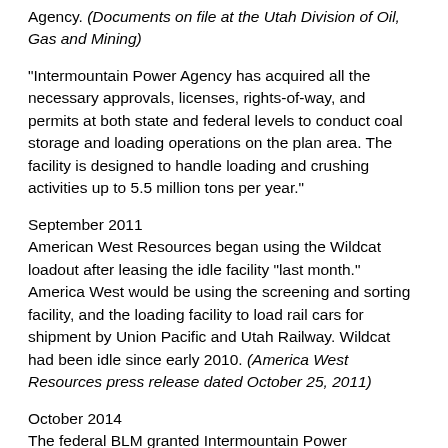Agency. (Documents on file at the Utah Division of Oil, Gas and Mining)
"Intermountain Power Agency has acquired all the necessary approvals, licenses, rights-of-way, and permits at both state and federal levels to conduct coal storage and loading operations on the plan area. The facility is designed to handle loading and crushing activities up to 5.5 million tons per year."
September 2011
American West Resources began using the Wildcat loadout after leasing the idle facility "last month." America West would be using the screening and sorting facility, and the loading facility to load rail cars for shipment by Union Pacific and Utah Railway. Wildcat had been idle since early 2010. (America West Resources press release dated October 25, 2011)
October 2014
The federal BLM granted Intermountain Power